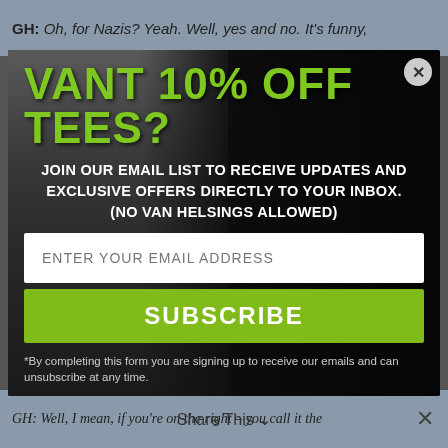GH: Oh, for Nazis? Yeah. Well, yes and no. It's funny,
VANT 10% OFF TEES?
JOIN OUR EMAIL LIST TO RECEIVE UPDATES AND EXCLUSIVE OFFERS DIRECTLY TO YOUR INBOX. (NO VAN HELSINGS ALLOWED)
ENTER YOUR EMAIL ADDRESS
SUBSCRIBE
*By completing this form you are signing up to receive our emails and can unsubscribe at any time.
GH: Well, I mean, if you're on the right – you call it the